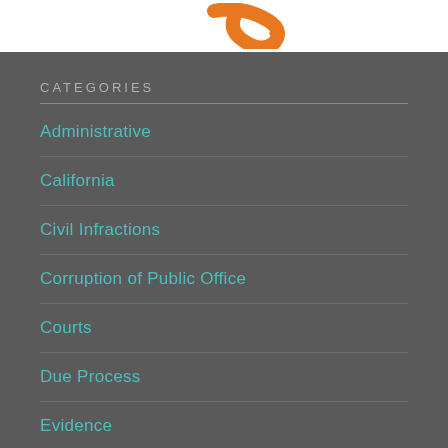[Figure (logo): Partial orange arrow/logo graphic on white background banner]
CATEGORIES
Administrative
California
Civil Infractions
Corruption of Public Office
Courts
Due Process
Evidence